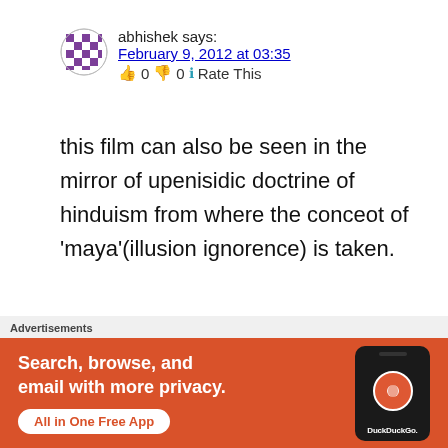abhishek says:
February 9, 2012 at 03:35
👍 0 👎 0 ℹ Rate This
this film can also be seen in the mirror of upenisidic doctrine of hinduism from where the conceot of 'maya'(illusion ignorence) is taken.
★ Like
Advertisements
[Figure (screenshot): DuckDuckGo advertisement banner: orange background with text 'Search, browse, and email with more privacy.' and button 'All in One Free App', with a phone image and DuckDuckGo logo]